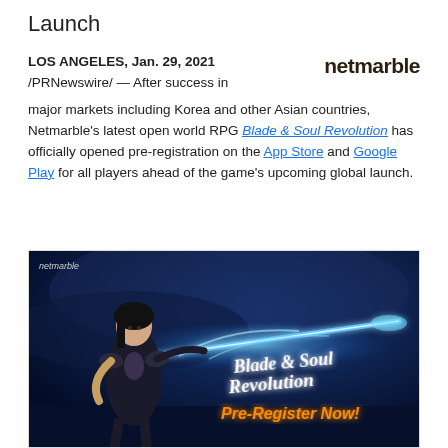Launch
LOS ANGELES, Jan. 29, 2021 /PRNewswire/ — After success in major markets including Korea and other Asian countries, Netmarble's latest open world RPG Blade & Soul Revolution has officially opened pre-registration on the App Store and Google Play for all players ahead of the game's upcoming global launch.
[Figure (photo): Blade & Soul Revolution game promotional image showing a female warrior character with a glowing blue sword, with the game logo and 'Pre-Register Now!' text. Netmarble logo in top left corner.]